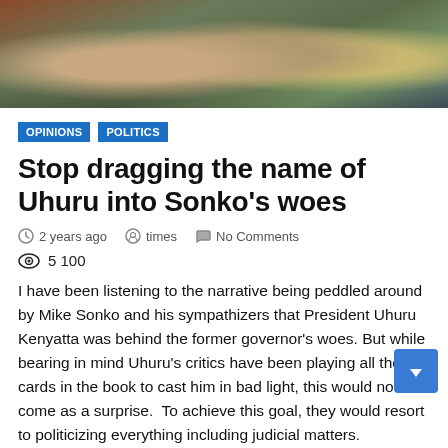[Figure (photo): Photograph of people in colorful jackets/clothing, cropped to show upper bodies and hands]
OPINIONS   POLITICS
Stop dragging the name of Uhuru into Sonko's woes
2 years ago   times   No Comments
5 100
I have been listening to the narrative being peddled around by Mike Sonko and his sympathizers that President Uhuru Kenyatta was behind the former governor's woes. But while bearing in mind Uhuru's critics have been playing all the cards in the book to cast him in bad light, this would not come as a surprise.  To achieve this goal, they would resort to politicizing everything including judicial matters.
I want to once again remind them. Kenya is not a banana